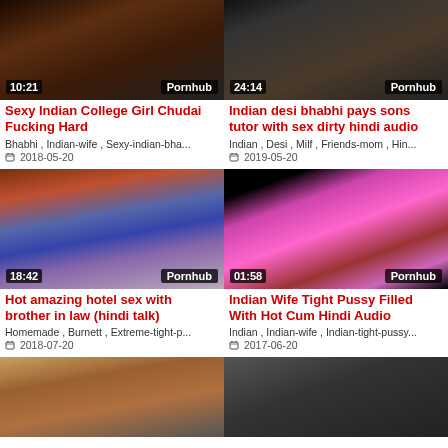[Figure (photo): Video thumbnail 1 left - Sexy Indian College Girl]
Sexy Indian College Girl Chudai Fucking Hard
Bhabhi , Indian-wife , Sexy-indian-bha...
2018-05-20
[Figure (photo): Video thumbnail 1 right - Indian desi bhabhi]
Indian desi bhabhi pays sons tutor with sex dirty hindi audio
Indian , Desi , Milf , Friends-mom , Hin...
2019-05-20
[Figure (photo): Video thumbnail 2 left - Hotel sex]
Hot amazing hotel sex with brother in law (hindi talk)
Homemade , Burnett , Extreme-tight-p...
2018-07-20
[Figure (photo): Video thumbnail 2 right - Indian Wife Tight Pussy]
Indian Wife Tight Pussy Filled With Hot Cum Hindi Audio
Indian , Indian-wife , Indian-tight-pussy...
2017-06-20
[Figure (photo): Video thumbnail 3 left - partial view]
[Figure (photo): Video thumbnail 3 right - partial view]